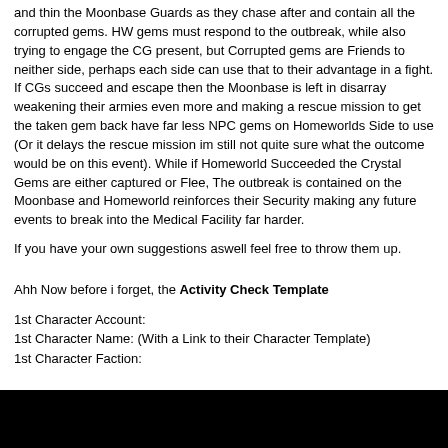and thin the Moonbase Guards as they chase after and contain all the corrupted gems. HW gems must respond to the outbreak, while also trying to engage the CG present, but Corrupted gems are Friends to neither side, perhaps each side can use that to their advantage in a fight. If CGs succeed and escape then the Moonbase is left in disarray weakening their armies even more and making a rescue mission to get the taken gem back have far less NPC gems on Homeworlds Side to use (Or it delays the rescue mission im still not quite sure what the outcome would be on this event). While if Homeworld Succeeded the Crystal Gems are either captured or Flee, The outbreak is contained on the Moonbase and Homeworld reinforces their Security making any future events to break into the Medical Facility far harder.
If you have your own suggestions aswell feel free to throw them up.
Ahh Now before i forget, the Activity Check Template
1st Character Account:
1st Character Name: (With a Link to their Character Template)
1st Character Faction:
2nd Character Account:
2nd Character Name: (With a Link to their Character Template)
2nd Character Faction: